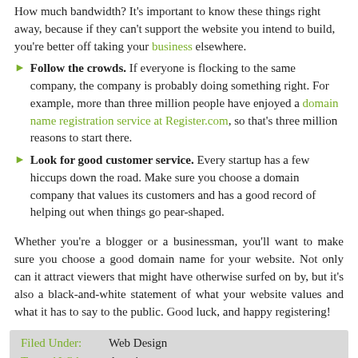How much bandwidth? It's important to know these things right away, because if they can't support the website you intend to build, you're better off taking your business elsewhere.
Follow the crowds. If everyone is flocking to the same company, the company is probably doing something right. For example, more than three million people have enjoyed a domain name registration service at Register.com, so that's three million reasons to start there.
Look for good customer service. Every startup has a few hiccups down the road. Make sure you choose a domain company that values its customers and has a good record of helping out when things go pear-shaped.
Whether you're a blogger or a businessman, you'll want to make sure you choose a good domain name for your website. Not only can it attract viewers that might have otherwise surfed on by, but it's also a black-and-white statement of what your website values and what it has to say to the public. Good luck, and happy registering!
| Filed Under: | Tagged With: |
| --- | --- |
| Web Design |
| domain name |